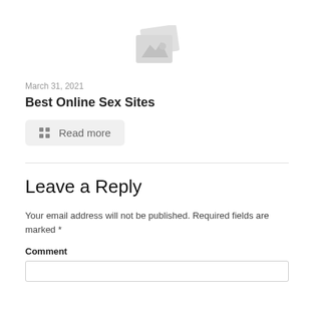[Figure (illustration): Placeholder image icon showing a generic image/photo placeholder with mountain silhouette symbol, light gray color]
March 31, 2021
Best Online Sex Sites
Read more
Leave a Reply
Your email address will not be published. Required fields are marked *
Comment